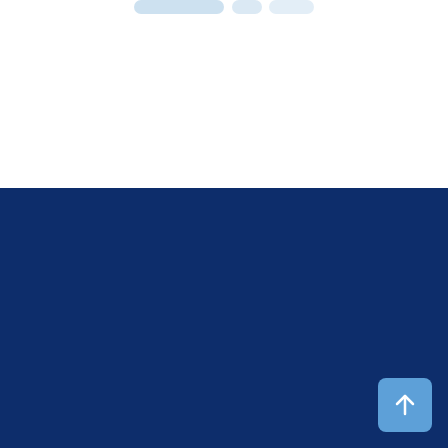[Figure (logo): Partial view of a logo/graphic at the top of the page, mostly white space]
[Figure (logo): OspreyData logo: osprey bird icon in shades of blue and white beside the text 'OspreyData' in white on a dark navy background]
[Figure (illustration): LinkedIn icon (white circle with 'in' glyph in dark navy) and Twitter/X icon (white circle with bird glyph in dark navy), social media links in the footer area]
[Figure (illustration): Light blue rounded square button with a white upward arrow, 'back to top' navigation element in bottom right corner]